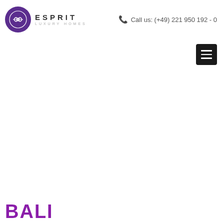ESPRIT LUXURY HOMES | Call us: (+49) 221 950 192 - 0
[Figure (other): Hamburger menu button (three horizontal white lines on dark background)]
BALI